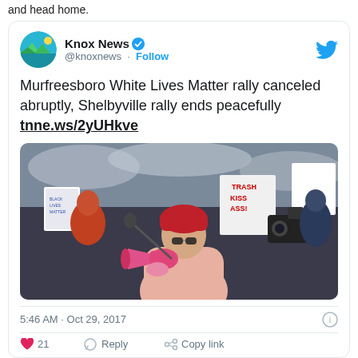and head home.
[Figure (screenshot): Tweet from Knox News (@knoxnews) with verified badge and Follow button. Tweet text: 'Murfreesboro White Lives Matter rally canceled abruptly, Shelbyville rally ends peacefully tnne.ws/2yUHkve'. Includes a photo of a woman in a red knit hat speaking into a pink megaphone at a rally, surrounded by protesters with signs. Timestamp: 5:46 AM · Oct 29, 2017. Like, Reply, and Copy link action buttons visible at bottom.]